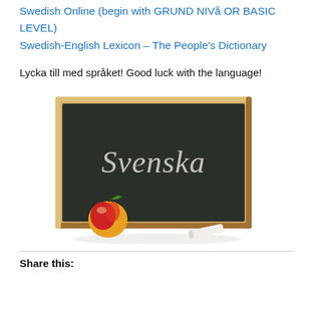Swedish Online (begin with GRUND NIVå OR BASIC LEVEL)
Swedish-English Lexicon – The People's Dictionary
Lycka till med språket! Good luck with the language!
[Figure (photo): A chalkboard with 'Svenska' written in chalk, a red apple leaning against the left side, and a piece of chalk on the right. The chalkboard has a wooden frame and sits on a white surface.]
Share this: